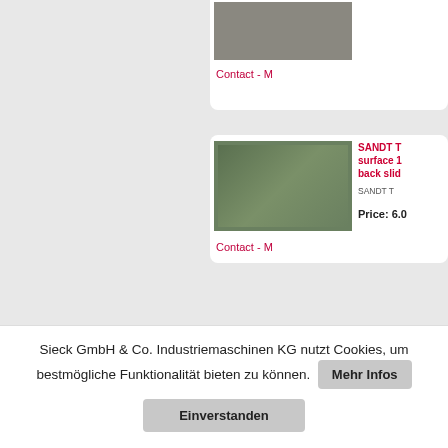[Figure (screenshot): Partial product card at top with machine image and Contact link]
[Figure (screenshot): Product listing card: SANDT T surface 1 back slid, green grinding machine image. Price: 6.0... Contact link.]
SANDT T surface 1 back slid
SANDT T
Price: 6.0
Contact -
[Figure (screenshot): Product listing card: SANDT T 1700 x 10, white/grey machine image. Price: 27. Contact link.]
SANDT T 1700 x 10
SANDT T
Price: 27.
Contact -
Sieck GmbH & Co. Industriemaschinen KG nutzt Cookies, um bestmögliche Funktionalität bieten zu können.
Mehr Infos
Einverstanden